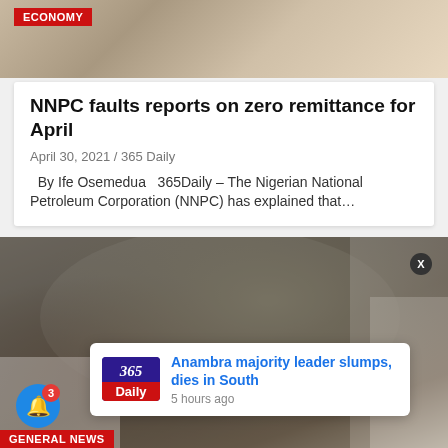[Figure (photo): Top image showing people in an office/official setting, partially visible]
ECONOMY
NNPC faults reports on zero remittance for April
April 30, 2021 / 365 Daily
By Ife Osemedua   365Daily – The Nigerian National Petroleum Corporation (NNPC) has explained that…
[Figure (photo): Image of people in a protest or conflict scene with smoke in background, vehicles visible]
GENERAL NEWS
Anambra majority leader slumps, dies in South
5 hours ago